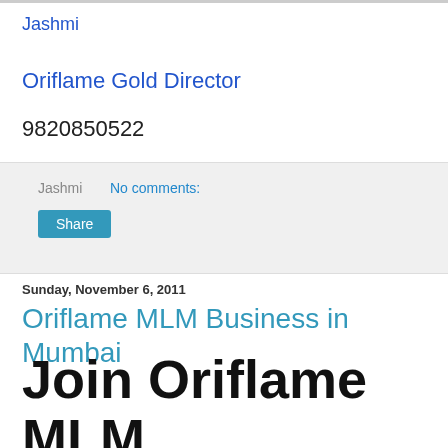Jashmi
Oriflame Gold Director
9820850522
Jashmi   No comments:
Share
Sunday, November 6, 2011
Oriflame MLM Business in Mumbai
Join Oriflame MLM Business in Mumbai?